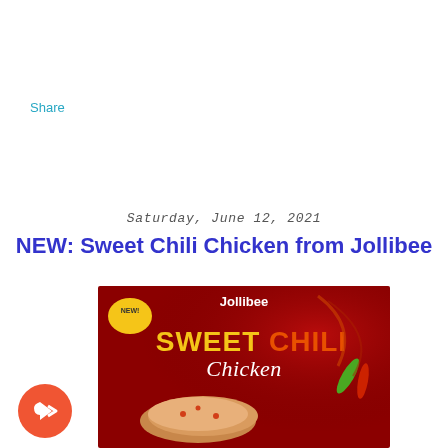Share
Saturday, June 12, 2021
NEW: Sweet Chili Chicken from Jollibee
[Figure (photo): Jollibee Sweet Chili Chicken promotional image with dark red background, yellow and orange text reading 'SWEET CHILI Chicken', a 'NEW!' badge, and a piece of glazed fried chicken with chili peppers]
[Figure (other): Orange circular share/forward button icon with white arrow]